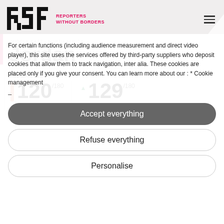[Figure (logo): RSF Reporters Without Borders logo with pink text]
For certain functions (including audience measurement and direct video player), this site uses the services offered by third-party suppliers who deposit cookies that allow them to track navigation, inter alia. These cookies are placed only if you give your consent. You can learn more about our : * Cookie management
-
Accept everything
Refuse everything
Personalise
INDEX 2022
120 /180
Score : 48.66
129 /180
Score : 57.11